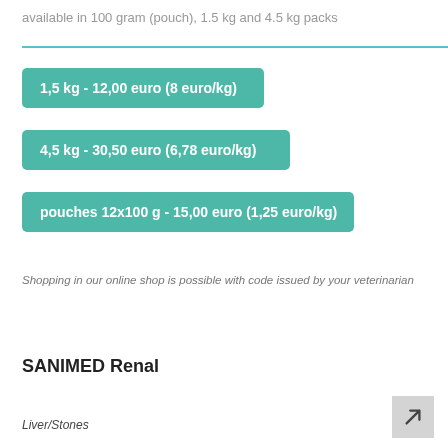available in 100 gram (pouch), 1.5 kg and 4.5 kg packs
1,5 kg - 12,00 euro (8 euro/kg)
4,5 kg - 30,50 euro (6,78 euro/kg)
pouches 12x100 g - 15,00 euro (1,25 euro/kg)
Shopping in our online shop is possible with code issued by your veterinarian
SANIMED Renal
Liver/Stones